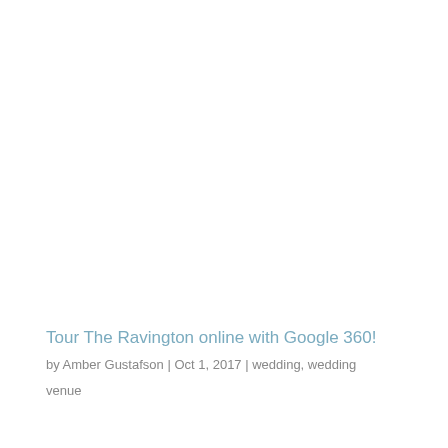Tour The Ravington online with Google 360!
by Amber Gustafson | Oct 1, 2017 | wedding, wedding venue